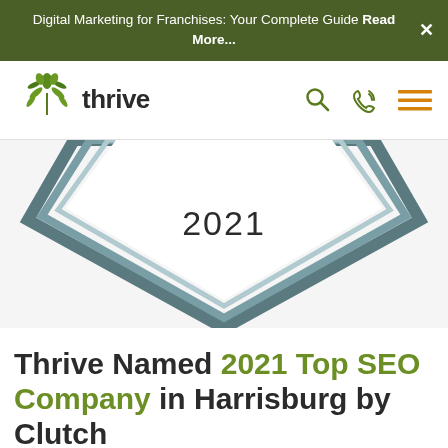Digital Marketing for Franchises: Your Complete Guide Read More...
[Figure (logo): Thrive Internet Marketing Agency logo with leaf/plant icon above the word 'thrive' in dark text]
[Figure (illustration): A 2021 award badge/shield shape from Clutch, showing layered chevron/shield outline in teal/grey with '2021' text in the center]
Thrive Named 2021 Top SEO Company in Harrisburg by Clutch